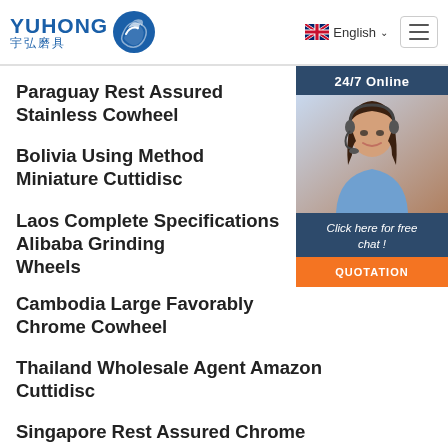YUHONG 宇弘磨具 — English navigation header with menu button
[Figure (screenshot): 24/7 Online chat widget with support agent photo, 'Click here for free chat!' text and QUOTATION button]
Paraguay Rest Assured Stainless Cowheel
Bolivia Using Method Miniature Cuttidisc
Laos Complete Specifications Alibaba Grinding Wheels
Cambodia Large Favorably Chrome Cowheel
Thailand Wholesale Agent Amazon Cuttidisc
Singapore Rest Assured Chrome Grinding Wheel
Indonesia Price Cheap Auction Cowheel
[Figure (logo): TOP button/logo at bottom right]